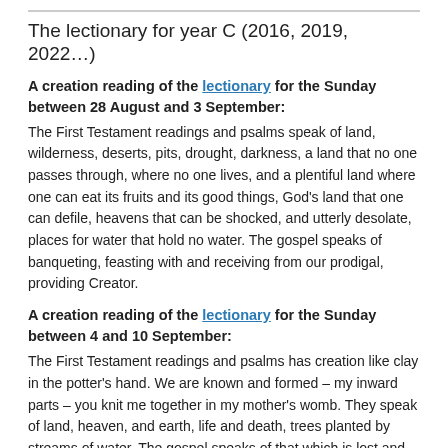The lectionary for year C (2016, 2019, 2022…)
A creation reading of the lectionary for the Sunday between 28 August and 3 September:
The First Testament readings and psalms speak of land, wilderness, deserts, pits, drought, darkness, a land that no one passes through, where no one lives, and a plentiful land where one can eat its fruits and its good things, God's land that one can defile, heavens that can be shocked, and utterly desolate, places for water that hold no water. The gospel speaks of banqueting, feasting with and receiving from our prodigal, providing Creator.
A creation reading of the lectionary for the Sunday between 4 and 10 September:
The First Testament readings and psalms has creation like clay in the potter's hand. We are known and formed – my inward parts – you knit me together in my mother's womb. They speak of land, heaven, and earth, life and death, trees planted by streams of water. The gospel speaks of that which is lost and will be found.